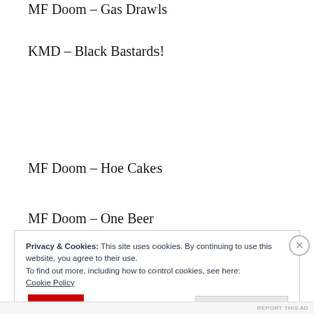MF Doom – Gas Drawls
KMD – Black Bastards!
MF Doom – Hoe Cakes
MF Doom – One Beer
Privacy & Cookies: This site uses cookies. By continuing to use this website, you agree to their use.
To find out more, including how to control cookies, see here:
Cookie Policy
Close and accept